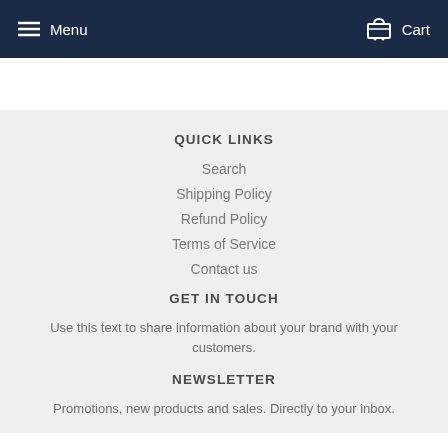Menu  Cart
QUICK LINKS
Search
Shipping Policy
Refund Policy
Terms of Service
Contact us
GET IN TOUCH
Use this text to share information about your brand with your customers.
NEWSLETTER
Promotions, new products and sales. Directly to your inbox.